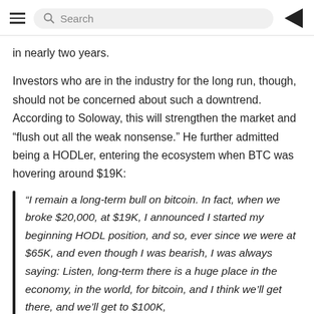Search
in nearly two years.
Investors who are in the industry for the long run, though, should not be concerned about such a downtrend. According to Soloway, this will strengthen the market and “flush out all the weak nonsense.” He further admitted being a HODLer, entering the ecosystem when BTC was hovering around $19K:
“I remain a long-term bull on bitcoin. In fact, when we broke $20,000, at $19K, I announced I started my beginning HODL position, and so, ever since we were at $65K, and even though I was bearish, I was always saying: Listen, long-term there is a huge place in the economy, in the world, for bitcoin, and I think we’ll get there, and we’ll get to $100K,